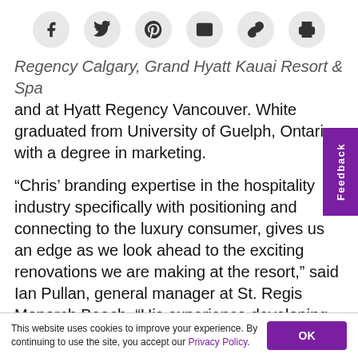[Social share icons: Facebook, Twitter, Pinterest, Email, Link, Print]
Regency Calgary, Grand Hyatt Kauai Resort & Spa and at Hyatt Regency Vancouver. White graduated from University of Guelph, Ontario with a degree in marketing.
“Chris’ branding expertise in the hospitality industry specifically with positioning and connecting to the luxury consumer, gives us an edge as we look ahead to the exciting renovations we are making at the resort,” said Ian Pullan, general manager at St. Regis Monarch Beach. “His experience developing teams with strong guest-oriented culture is sure to deliver growth and success for all the Starwood properties”
This website uses cookies to improve your experience. By continuing to use the site, you accept our Privacy Policy.